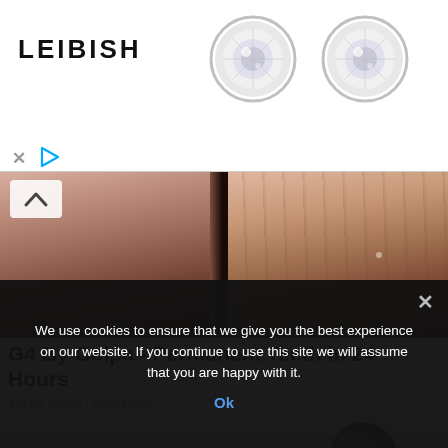[Figure (photo): Leibish jewelry advertisement banner with brand name 'LEIBISH' on the left and two round diamond earrings on the right. X and play button icons below.]
[Figure (photo): Close-up split photo showing lower faces/chins of two women, used as advertisement for G4 By Golpa dental services. A chevron-up button is visible top-left.]
G4 By Golpa - Permanent Teeth in 24 Hours
G4 By Golpa | Sponsored
[Figure (photo): Second advertisement image showing a gray textured background with a dark sphere/orb on the right side.]
We use cookies to ensure that we give you the best experience on our website. If you continue to use this site we will assume that you are happy with it.
Ok